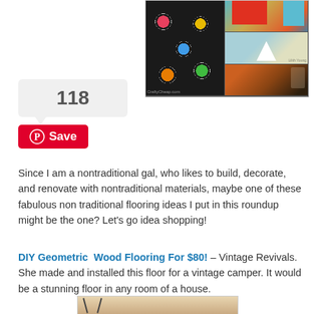[Figure (photo): Collage of nontraditional flooring ideas: vinyl records floor, teal/orange room, craft floor, cork/penny floor]
118
Save
Since I am a nontraditional gal, who likes to build, decorate, and renovate with nontraditional materials, maybe one of these fabulous non traditional flooring ideas I put in this roundup might be the one? Let's go idea shopping!
DIY Geometric Wood Flooring For $80! – Vintage Revivals. She made and installed this floor for a vintage camper. It would be a stunning floor in any room of a house.
[Figure (photo): Photo of geometric wood flooring installation in progress]